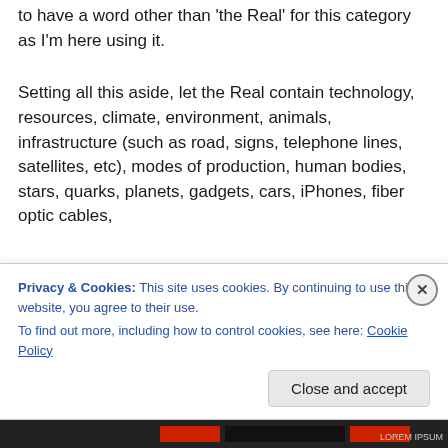to have a word other than 'the Real' for this category as I'm here using it.
Setting all this aside, let the Real contain technology, resources, climate, environment, animals, infrastructure (such as road, signs, telephone lines, satellites, etc), modes of production, human bodies, stars, quarks, planets, gadgets, cars, iPhones, fiber optic cables,
Privacy & Cookies: This site uses cookies. By continuing to use this website, you agree to their use.
To find out more, including how to control cookies, see here: Cookie Policy
Close and accept